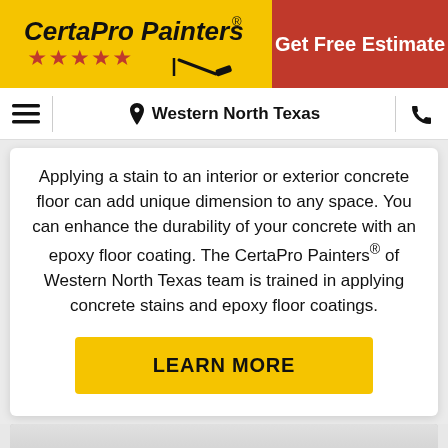CertaPro Painters® | Get Free Estimate
Western North Texas
Applying a stain to an interior or exterior concrete floor can add unique dimension to any space. You can enhance the durability of your concrete with an epoxy floor coating. The CertaPro Painters® of Western North Texas team is trained in applying concrete stains and epoxy floor coatings.
LEARN MORE
[Figure (photo): Bottom portion of a photo showing a paint brush or tool being used on a surface, in grayscale tones.]